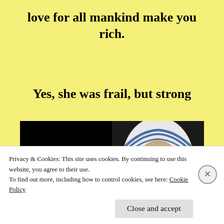love for all mankind make you rich.
Yes, she was frail, but strong
[Figure (photo): Two-panel image: left panel shows a dark background with italic white text reading '“I’m a little pencil in the hand of a writing God, who…”; right panel shows a close-up photograph of Mother Teresa wearing her characteristic blue-and-white habit, looking upward.]
Privacy & Cookies: This site uses cookies. By continuing to use this website, you agree to their use.
To find out more, including how to control cookies, see here: Cookie Policy
Close and accept